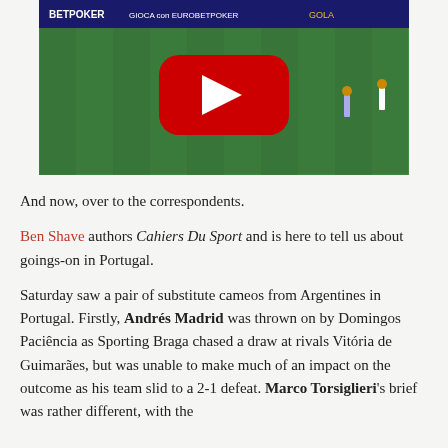[Figure (screenshot): YouTube video thumbnail showing a football/soccer match on a green pitch with players and a referee visible. A large red YouTube play button is overlaid in the center. Advertising boards with 'BETPOKER' and 'GIOCA con EUROBETPOKER' text are visible in the background.]
And now, over to the correspondents.
Ben Shave authors Cahiers Du Sport and is here to tell us about goings-on in Portugal.
Saturday saw a pair of substitute cameos from Argentines in Portugal. Firstly, Andrés Madrid was thrown on by Domingos Paciência as Sporting Braga chased a draw at rivals Vitória de Guimarães, but was unable to make much of an impact on the outcome as his team slid to a 2-1 defeat. Marco Torsiglieri's brief was rather different, with the